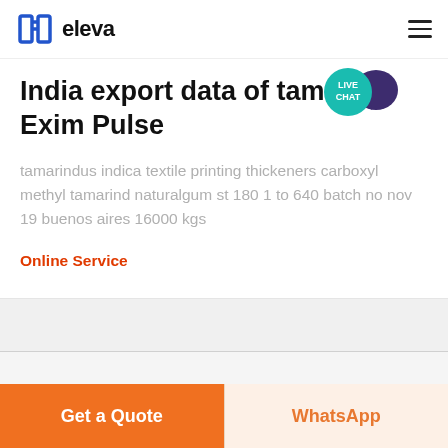eleva
India export data of tamarind Exim Pulse
tamarindus indica textile printing thickeners carboxyl methyl tamarind naturalgum st 180 1 to 640 batch no nov 19 buenos aires 16000 kgs
Online Service